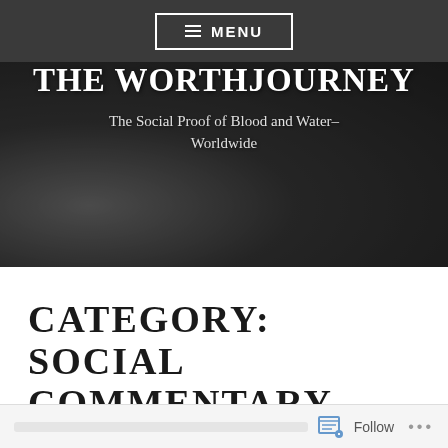≡ MENU
THE WORTHJOURNEY
The Social Proof of Blood and Water– Worldwide
CATEGORY: SOCIAL COMMENTARY
Follow •••